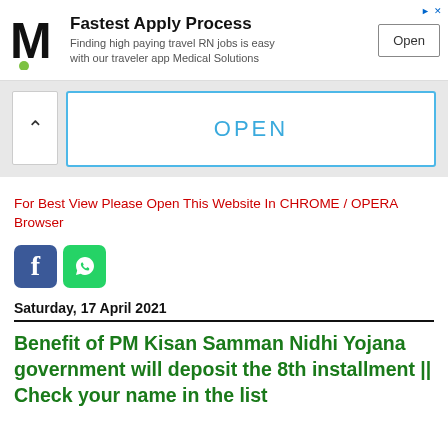[Figure (other): Advertisement banner with M logo for Medical Solutions - Fastest Apply Process, Finding high paying travel RN jobs is easy with our traveler app Medical Solutions, with Open button]
[Figure (other): App install popup with chevron up arrow and OPEN button in blue border box]
For Best View Please Open This Website In CHROME / OPERA Browser
[Figure (other): Social media icons: Facebook (blue) and WhatsApp (green)]
Saturday, 17 April 2021
Benefit of PM Kisan Samman Nidhi Yojana government will deposit the 8th installment || Check your name in the list